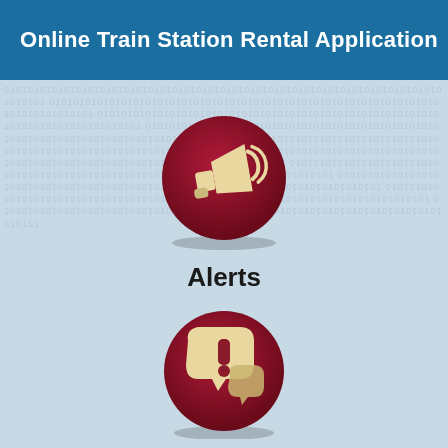Online Train Station Rental Application
[Figure (illustration): Dark red circular button icon with a megaphone/loudspeaker in cream/gold color, representing announcements or broadcasts]
Alerts
[Figure (illustration): Dark red circular button icon with speech bubbles containing an exclamation mark in cream/gold color, representing alerts or notifications]